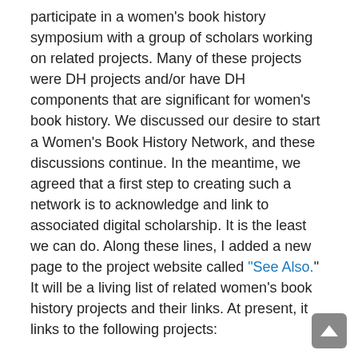participate in a women's book history symposium with a group of scholars working on related projects. Many of these projects were DH projects and/or have DH components that are significant for women's book history. We discussed our desire to start a Women's Book History Network, and these discussions continue. In the meantime, we agreed that a first step to creating such a network is to acknowledge and link to associated digital scholarship. It is the least we can do. Along these lines, I added a new page to the project website called “See Also.” It will be a living list of related women's book history projects and their links. At present, it links to the following projects:
Aphra Behn Online (ABO): Interactive Journal for Women in the Arts, 1640-1830 http://scholarcommons.usf.edu/abo/
Elizabeth Montague Correspondence Online